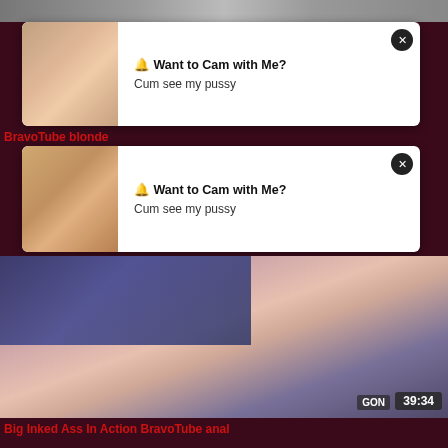[Figure (screenshot): Top strip showing partial video thumbnail]
[Figure (screenshot): Popup ad card 1 with close button, text 'Want to Cam with Me? Cum see my pussy']
BravoTube blonde
[Figure (screenshot): Popup ad card 2 with close button, text 'Want to Cam with Me? Cum see my pussy']
[Figure (photo): Video thumbnail of tattooed woman with purple hair, duration 39:34, GON watermark]
Big Inked Ass In Action BravoTube anal